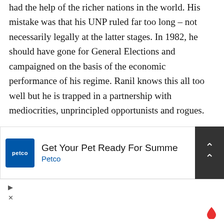had the help of the richer nations in the world. His mistake was that his UNP ruled far too long – not necessarily legally at the latter stages. In 1982, he should have gone for General Elections and campaigned on the basis of the economic performance of his regime. Ranil knows this all too well but he is trapped in a partnership with mediocrities, unprincipled opportunists and rogues. Sri Lanka continues to engage political turbulence and turmoil. There are more signs of the country declining in the short term than overcoming her many challenges. The next few months will be crucial.
[Figure (screenshot): Advertisement banner for Petco: 'Get Your Pet Ready For Summe' with Petco logo and navigation icon]